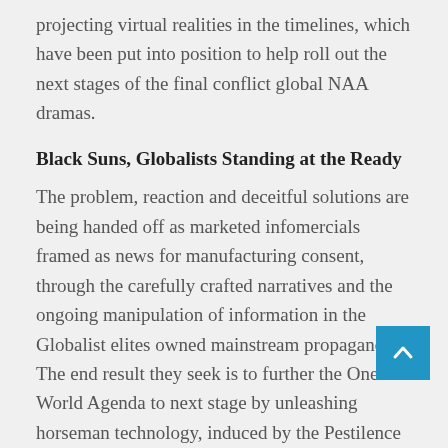projecting virtual realities in the timelines, which have been put into position to help roll out the next stages of the final conflict global NAA dramas.
Black Suns, Globalists Standing at the Ready
The problem, reaction and deceitful solutions are being handed off as marketed infomercials framed as news for manufacturing consent, through the carefully crafted narratives and the ongoing manipulation of information in the Globalist elites owned mainstream propaganda. The end result they seek is to further the One World Agenda to next stage by unleashing horseman technology, induced by the Pestilence Program in order to gain compliance and submission, on an unaware public